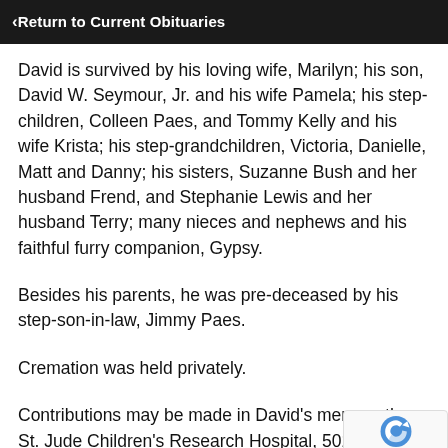‹ Return to Current Obituaries
David is survived by his loving wife, Marilyn; his son, David W. Seymour, Jr. and his wife Pamela; his step-children, Colleen Paes, and Tommy Kelly and his wife Krista; his step-grandchildren, Victoria, Danielle, Matt and Danny; his sisters, Suzanne Bush and her husband Frend, and Stephanie Lewis and her husband Terry; many nieces and nephews and his faithful furry companion, Gypsy.
Besides his parents, he was pre-deceased by his step-son-in-law, Jimmy Paes.
Cremation was held privately.
Contributions may be made in David's memory the St. Jude Children's Research Hospital, 501 St